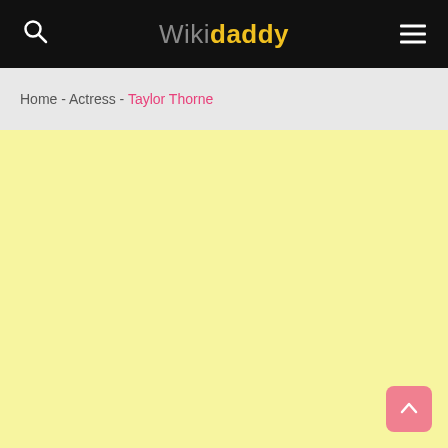Wikidaddy
Home - Actress - Taylor Thorne
[Figure (other): Yellow/light content area placeholder with back-to-top button]